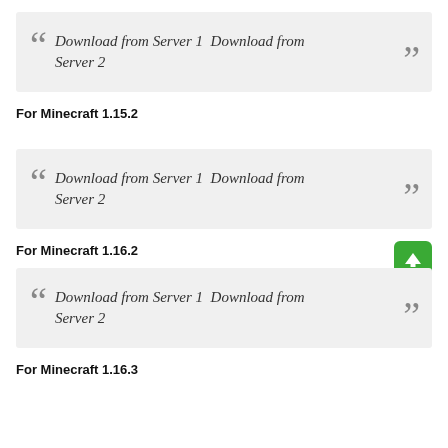Download from Server 1  Download from Server 2
For Minecraft 1.15.2
Download from Server 1  Download from Server 2
For Minecraft 1.16.2
Download from Server 1  Download from Server 2
For Minecraft 1.16.3